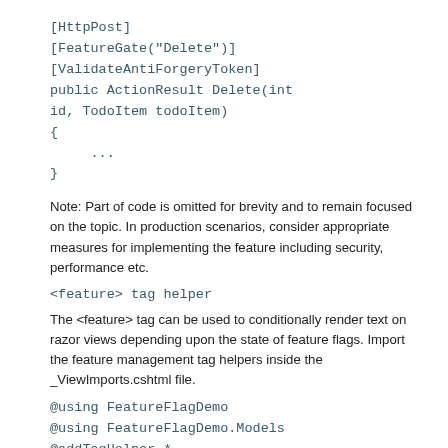[HttpPost]
[FeatureGate("Delete")]
[ValidateAntiForgeryToken]
public ActionResult Delete(int id, TodoItem todoItem)
{
     ...
}
Note: Part of code is omitted for brevity and to remain focused on the topic. In production scenarios, consider appropriate measures for implementing the feature including security, performance etc.
<feature> tag helper
The <feature> tag can be used to conditionally render text on razor views depending upon the state of feature flags. Import the feature management tag helpers inside the _ViewImports.cshtml file.
@using FeatureFlagDemo
@using FeatureFlagDemo.Models
@addTagHelper *, Microsoft.AspNetCore.Mvc.TagHelpers
@addTagHelper *, Microsoft.FeatureManagement.AspNetCore
Inside razor view, use the <feature> tag as